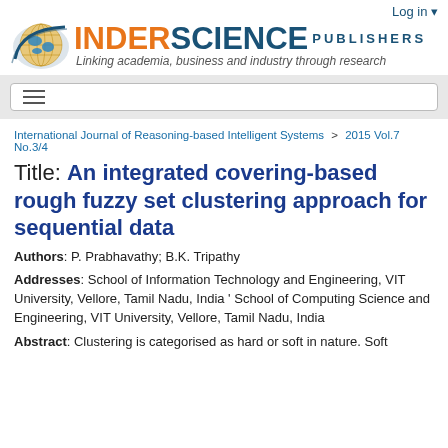[Figure (logo): Inderscience Publishers logo with globe graphic, orange INDER and blue SCIENCE text, PUBLISHERS in spaced blue letters, tagline: Linking academia, business and industry through research]
Log in
Title: An integrated covering-based rough fuzzy set clustering approach for sequential data
International Journal of Reasoning-based Intelligent Systems > 2015 Vol.7 No.3/4
Authors: P. Prabhavathy; B.K. Tripathy
Addresses: School of Information Technology and Engineering, VIT University, Vellore, Tamil Nadu, India ' School of Computing Science and Engineering, VIT University, Vellore, Tamil Nadu, India
Abstract: Clustering is categorised as hard or soft in nature. Soft